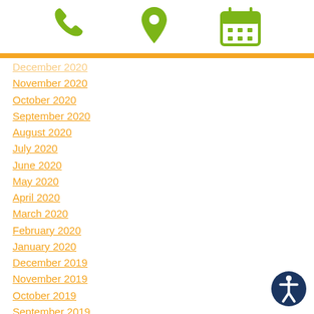[Figure (infographic): Three green icons in a row: phone handset, map location pin, and calendar grid]
December 2020 (partially visible, faded)
November 2020
October 2020
September 2020
August 2020
July 2020
June 2020
May 2020
April 2020
March 2020
February 2020
January 2020
December 2019
November 2019
October 2019
September 2019
August 2019
July 2019
June 2019